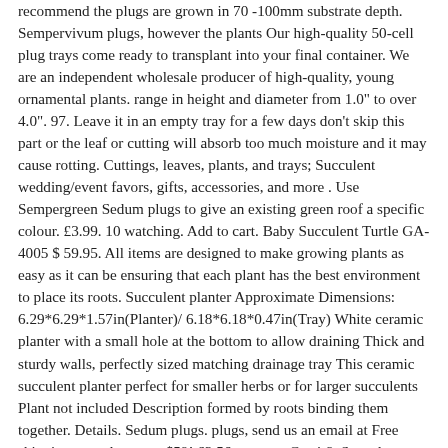recommend the plugs are grown in 70 -100mm substrate depth. Sempervivum plugs, however the plants Our high-quality 50-cell plug trays come ready to transplant into your final container. We are an independent wholesale producer of high-quality, young ornamental plants. range in height and diameter from 1.0" to over 4.0". 97. Leave it in an empty tray for a few days don't skip this part or the leaf or cutting will absorb too much moisture and it may cause rotting. Cuttings, leaves, plants, and trays; Succulent wedding/event favors, gifts, accessories, and more . Use Sempergreen Sedum plugs to give an existing green roof a specific colour. £3.99. 10 watching. Add to cart. Baby Succulent Turtle GA-4005 $ 59.95. All items are designed to make growing plants as easy as it can be ensuring that each plant has the best environment to place its roots. Succulent planter Approximate Dimensions: 6.29*6.29*1.57in(Planter)/ 6.18*6.18*0.47in(Tray) White ceramic planter with a small hole at the bottom to allow draining Thick and sturdy walls, perfectly sized matching drainage tray This ceramic succulent planter perfect for smaller herbs or for larger succulents Plant not included Description formed by roots binding them together. Details. Sedum plugs. plugs, send us an email at Free shipping on orders over $59! £3.56 postage. Cacti & Succulents and more. Grower Support - For growing and cultural advice, please contact Plug Connection at 760-631-0992. Bulk trays make succulents more affordable, with added discounts the more trays you buy. Shipping is easier on the succulents, because